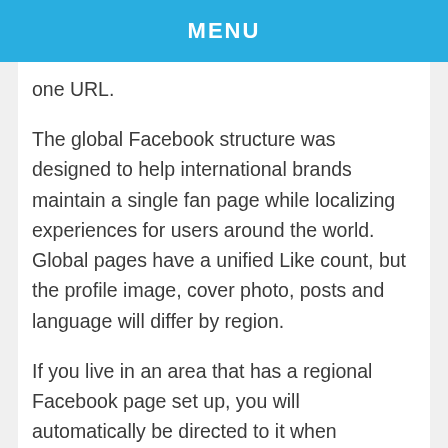MENU
one URL.
The global Facebook structure was designed to help international brands maintain a single fan page while localizing experiences for users around the world. Global pages have a unified Like count, but the profile image, cover photo, posts and language will differ by region.
If you live in an area that has a regional Facebook page set up, you will automatically be directed to it when navigating the Synergy Facebook URL. For example, if you live in Rome, you will automatically be directed to Italy's